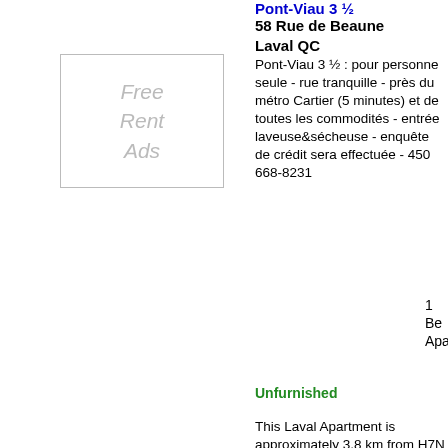Pont-Viau 3 ½
58 Rue de Beaune Laval QC
Pont-Viau 3 ½ : pour personne seule - rue tranquille - près du métro Cartier (5 minutes) et de toutes les commodités - entrée laveuse&sécheuse - enquête de crédit sera effectuée - 450 668-8231
Unfurnished
This Laval Apartment is approximately 3.8 km from H7N 1R1
Big 31/2 to rent Montreal!
5100 Rue Dudemaine Montreal QC
Big 31/2 (600sqft) on 4th floor with balcony and elevator. includes: heating, hot water, stove, microwave fridge, dishwasher
[Figure (photo): Interior photo of apartment]
1 Be Apa